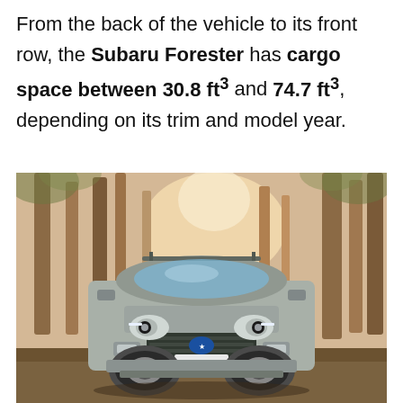From the back of the vehicle to its front row, the Subaru Forester has cargo space between 30.8 ft³ and 74.7 ft³, depending on its trim and model year.
[Figure (photo): A silver/gray Subaru Forester SUV photographed head-on in a forest setting with tall trees in the background and warm sunlight filtering through.]